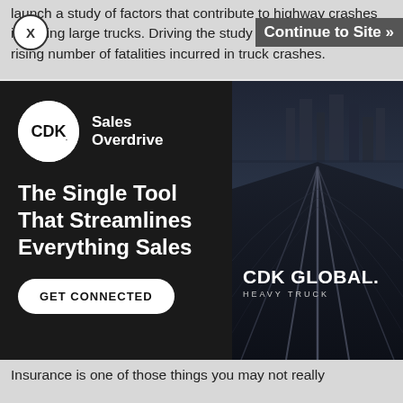launch a study of factors that contribute to highway crashes involving large trucks. Driving the study is concern over the rising number of fatalities incurred in truck crashes.
[Figure (screenshot): CDK Global Sales Overdrive advertisement. Left panel dark background with CDK logo, 'Sales Overdrive' text, headline 'The Single Tool That Streamlines Everything Sales', and 'GET CONNECTED' button. Right panel shows a highway/road photo with 'CDK GLOBAL. HEAVY TRUCK' branding.]
Insurance is one of those things you may not really